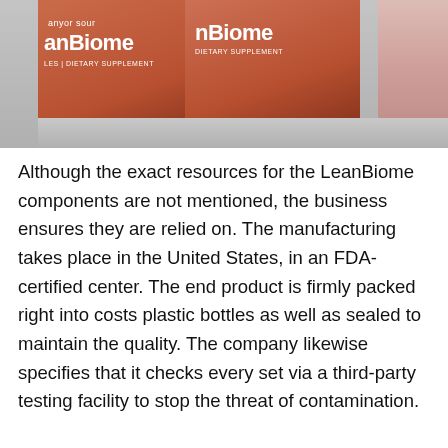[Figure (photo): Two salmon/terracotta colored supplement bottles labeled 'LeanBiome Dietary Supplement' displayed on a shelf, with a pink fabric in the background on the right side.]
Although the exact resources for the LeanBiome components are not mentioned, the business ensures they are relied on. The manufacturing takes place in the United States, in an FDA-certified center. The end product is firmly packed right into costs plastic bottles as well as sealed to maintain the quality. The company likewise specifies that it checks every set via a third-party testing facility to stop the threat of contamination.